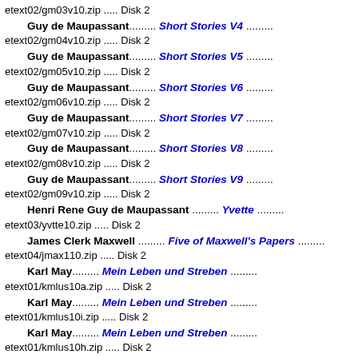etext02/gm03v10.zip ..... Disk 2
Guy de Maupassant.......... Short Stories V4 .........
etext02/gm04v10.zip ..... Disk 2
Guy de Maupassant.......... Short Stories V5 .........
etext02/gm05v10.zip ..... Disk 2
Guy de Maupassant.......... Short Stories V6 .........
etext02/gm06v10.zip ..... Disk 2
Guy de Maupassant.......... Short Stories V7 .........
etext02/gm07v10.zip ..... Disk 2
Guy de Maupassant.......... Short Stories V8 .........
etext02/gm08v10.zip ..... Disk 2
Guy de Maupassant.......... Short Stories V9 .........
etext02/gm09v10.zip ..... Disk 2
Henri Rene Guy de Maupassant .......... Yvette .........
etext03/yvtte10.zip ..... Disk 2
James Clerk Maxwell .......... Five of Maxwell's Papers .........
etext04/jmax110.zip ..... Disk 2
Karl May.......... Mein Leben und Streben .........
etext01/kmlus10a.zip ..... Disk 2
Karl May.......... Mein Leben und Streben .........
etext01/kmlus10i.zip ..... Disk 2
Karl May.......... Mein Leben und Streben .........
etext01/kmlus10h.zip ..... Disk 2
Margaret Mayo.......... Baby Mine ......... etext97/bmine10.zip ..... Disk 1
Margaret Mayo.......... Belle of the Ci...